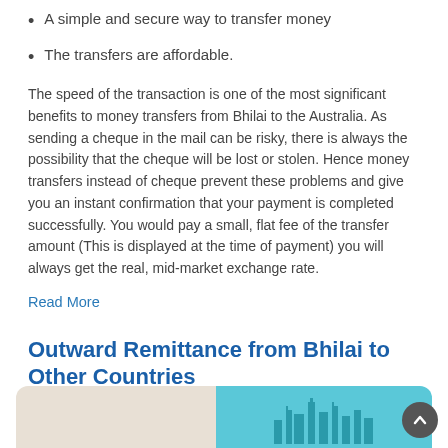A simple and secure way to transfer money
The transfers are affordable.
The speed of the transaction is one of the most significant benefits to money transfers from Bhilai to the Australia. As sending a cheque in the mail can be risky, there is always the possibility that the cheque will be lost or stolen. Hence money transfers instead of cheque prevent these problems and give you an instant confirmation that your payment is completed successfully. You would pay a small, flat fee of the transfer amount (This is displayed at the time of payment) you will always get the real, mid-market exchange rate.
Read More
Outward Remittance from Bhilai to Other Countries
[Figure (illustration): Two card-style images at the bottom of the page — a beige/tan card on the left and a teal/cyan card on the right with a city silhouette illustration]